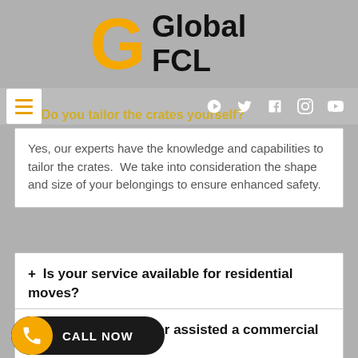[Figure (logo): Global FCL logo with large orange G letter and bold text 'Global FCL']
− Do you tailor the crates yourself?
Yes, our experts have the knowledge and capabilities to tailor the crates. We take into consideration the shape and size of your belongings to ensure enhanced safety.
+ Is your service available for residential moves?
+ Have you have ever assisted a commercial client before?